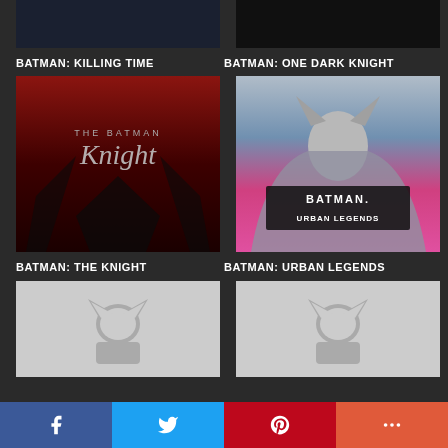[Figure (illustration): Partial top of Batman: Killing Time comic book cover, dark teal tones]
[Figure (illustration): Partial top of Batman: One Dark Knight comic book cover, dark tones]
BATMAN: KILLING TIME
BATMAN: ONE DARK KNIGHT
[Figure (illustration): Batman: The Knight comic book cover with dark red/orange tones, gothic lettering]
[Figure (illustration): Batman: Urban Legends comic book cover with Batman in gray suit, pink/magenta tones]
BATMAN: THE KNIGHT
BATMAN: URBAN LEGENDS
[Figure (illustration): Placeholder gray image with Batman logo watermark]
[Figure (illustration): Placeholder gray image with Batman logo watermark]
[Figure (infographic): Social media sharing bar with Facebook, Twitter, Pinterest, and more buttons]